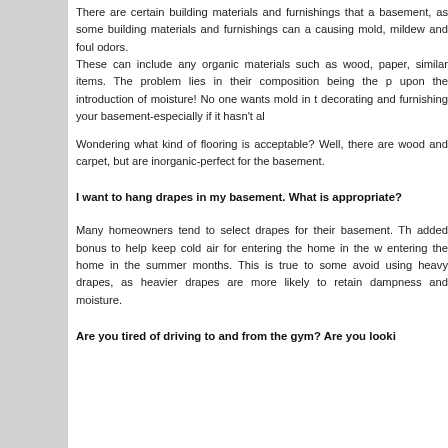There are certain building materials and furnishings that a basement, as some building materials and furnishings can a causing mold, mildew and foul odors. These can include any organic materials such as wood, paper, similar items. The problem lies in their composition being the p upon the introduction of moisture! No one wants mold in t decorating and furnishing your basement-especially if it hasn't al
Wondering what kind of flooring is acceptable? Well, there are wood and carpet, but are inorganic-perfect for the basement.
I want to hang drapes in my basement. What is appropriate?
Many homeowners tend to select drapes for their basement. Th added bonus to help keep cold air for entering the home in the w entering the home in the summer months. This is true to some avoid using heavy drapes, as heavier drapes are more likely to retain dampness and moisture.
Are you tired of driving to and from the gym? Are you looki